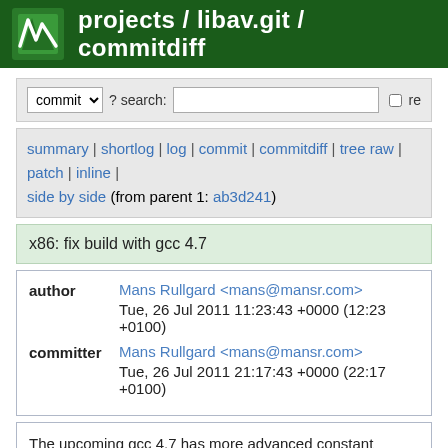projects / libav.git / commitdiff
commit ▾  ? search:  re
summary | shortlog | log | commit | commitdiff | tree raw | patch | inline | side by side (from parent 1: ab3d241)
x86: fix build with gcc 4.7
| field | value |
| --- | --- |
| author | Mans Rullgard <mans@mansr.com> |
|  | Tue, 26 Jul 2011 11:23:43 +0000 (12:23 +0100) |
| committer | Mans Rullgard <mans@mansr.com> |
|  | Tue, 26 Jul 2011 21:17:43 +0000 (22:17 +0100) |
The upcoming gcc 4.7 has more advanced constant propagation resulting some inline asm operands becoming constants and thus emitted as literals, sometimes in contexts where this results in invalid instructions.